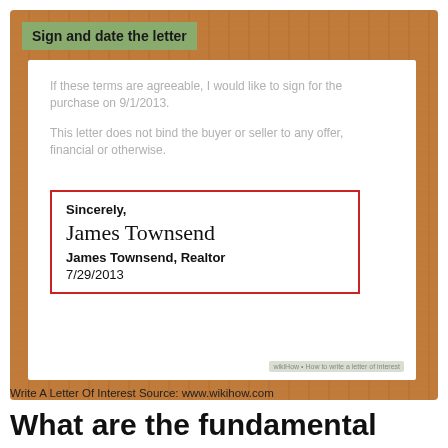[Figure (screenshot): Screenshot of a letter of interest document showing the closing section with 'Sign and date the letter' step label, faded body text, and a red-bordered signature box containing 'Sincerely, James Townsend, Realtor, 7/29/2013' with a cursive signature. Wood-textured background. WikiHow watermark.]
Write A Letter Of Interest Source: www.wikihow.com
What are the fundamental elements of a cover letter?